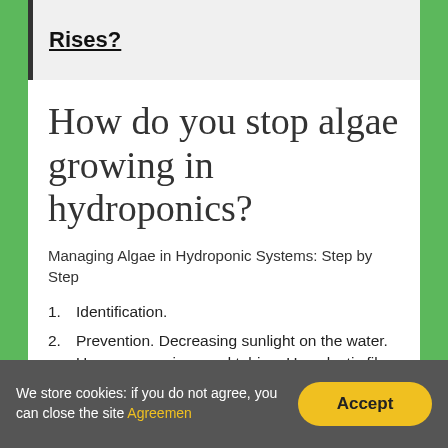Rises?
How do you stop algae growing in hydroponics?
Managing Algae in Hydroponic Systems: Step by Step
Identification.
Prevention. Decreasing sunlight on the water. Use opaque pipes and tubing. Use plastic film. Correct growing medium.
Elimination. Drain the System. Create a Cleaning Solution. Remove any Pumps and
We store cookies: if you do not agree, you can close the site Agreemen